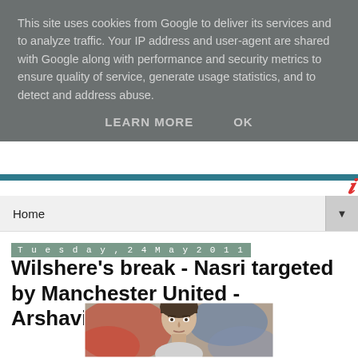This site uses cookies from Google to deliver its services and to analyze traffic. Your IP address and user-agent are shared with Google along with performance and security metrics to ensure quality of service, generate usage statistics, and to detect and address abuse.
LEARN MORE    OK
Home
Tuesday, 24 May 2011
Wilshere's break - Nasri targeted by Manchester United - Arshavin's £7m exit?
[Figure (photo): Close-up photo of a male footballer with short dark hair, blurred colorful background]